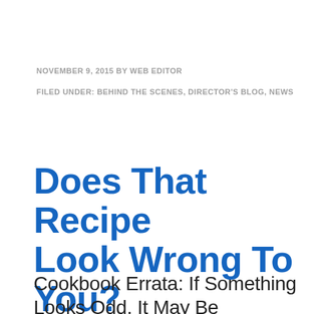NOVEMBER 9, 2015 BY WEB EDITOR
FILED UNDER: BEHIND THE SCENES, DIRECTOR'S BLOG, NEWS
Does That Recipe Look Wrong To You?
Cookbook Errata: If Something Looks Odd, It May Be